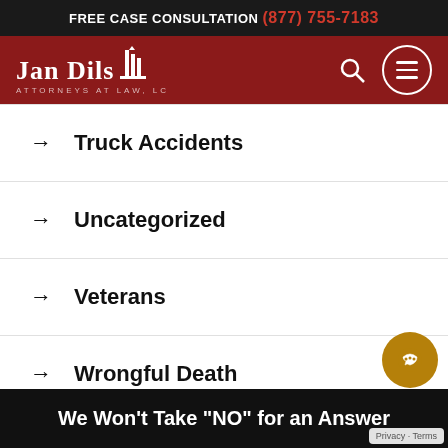FREE CASE CONSULTATION (877) 755-7183
[Figure (logo): Jan Dils Attorneys at Law, LC logo with navigation search and menu icons on dark red background]
Truck Accidents
Uncategorized
Veterans
Wrongful Death
We Won't Take “NO” for an Answer